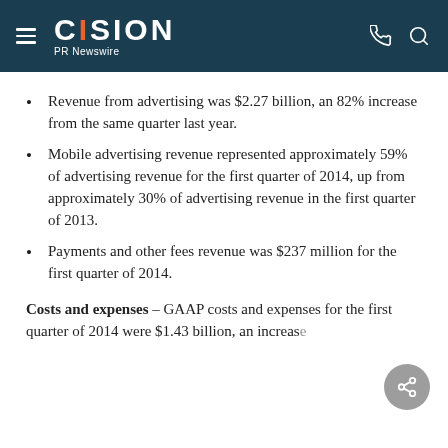CISION PR Newswire
Revenue from advertising was $2.27 billion, an 82% increase from the same quarter last year.
Mobile advertising revenue represented approximately 59% of advertising revenue for the first quarter of 2014, up from approximately 30% of advertising revenue in the first quarter of 2013.
Payments and other fees revenue was $237 million for the first quarter of 2014.
Costs and expenses – GAAP costs and expenses for the first quarter of 2014 were $1.43 billion, an increase